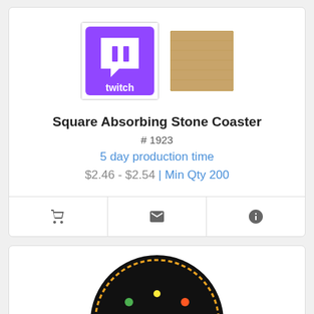[Figure (photo): Product images: Twitch logo printed on a square stone coaster (front) and plain cork back of coaster]
Square Absorbing Stone Coaster
# 1923
5 day production time
$2.46 - $2.54 | Min Qty 200
[Figure (photo): Round black coaster with Cinco de Mayo / Queso! festive design with colorful decorations]